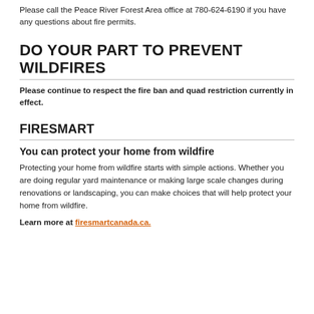Please call the Peace River Forest Area office at 780-624-6190 if you have any questions about fire permits.
DO YOUR PART TO PREVENT WILDFIRES
Please continue to respect the fire ban and quad restriction currently in effect.
FIRESMART
You can protect your home from wildfire
Protecting your home from wildfire starts with simple actions. Whether you are doing regular yard maintenance or making large scale changes during renovations or landscaping, you can make choices that will help protect your home from wildfire.
Learn more at firesmartcanada.ca.